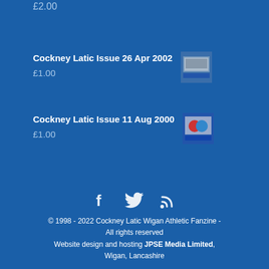£2.00
Cockney Latic Issue 26 Apr 2002
£1.00
Cockney Latic Issue 11 Aug 2000
£1.00
© 1998 - 2022 Cockney Latic Wigan Athletic Fanzine - All rights reserved
Website design and hosting JPSE Media Limited, Wigan, Lancashire